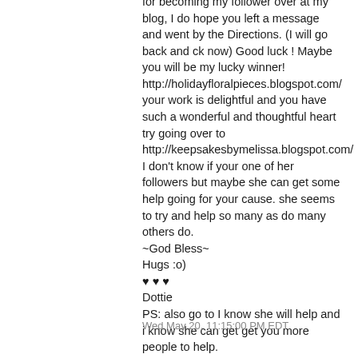for becoming my follower over at my blog, I do hope you left a message and went by the Directions. (I will go back and ck now) Good luck ! Maybe you will be my lucky winner! http://holidayfloralpieces.blogspot.com/ your work is delightful and you have such a wonderful and thoughtful heart try going over to http://keepsakesbymelissa.blogspot.com/ I don't know if your one of her followers but maybe she can get some help going for your cause. she seems to try and help so many as do many others do.
~God Bless~
Hugs :o)
♥ ♥ ♥
Dottie
PS: also go to I know she will help and i know she can get get you more people to help.
http://lifeonelayoutatatime.blogspot.com/
Wed May 20, 11:15:00 PM EDT